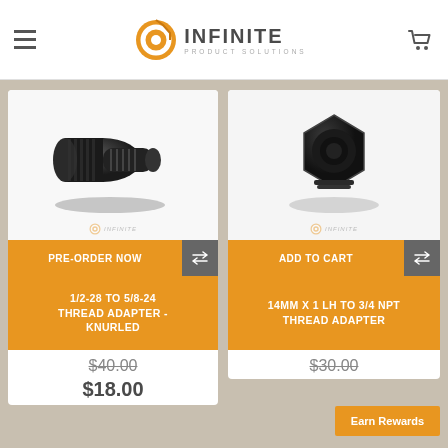Infinite Product Solutions — navigation header with hamburger menu, logo, and cart icon
[Figure (photo): Black knurled thread adapter fitting (1/2-28 to 5/8-24), cylindrical metal part with knurled grip texture]
PRE-ORDER NOW
1/2-28 TO 5/8-24 THREAD ADAPTER - KNURLED
$40.00 (strikethrough)
$18.00
[Figure (photo): Black hexagonal thread adapter fitting (14MM x 1 LH to 3/4 NPT), compact metal part with hex body]
ADD TO CART
14MM X 1 LH TO 3/4 NPT THREAD ADAPTER
$30.00 (strikethrough)
Earn Rewards